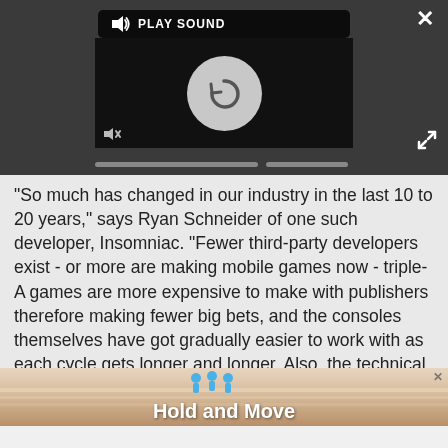[Figure (screenshot): Video player overlay with PLAY SOUND button, circular play/reload button, mute icon, and progress bar on dark background]
“So much has changed in our industry in the last 10 to 20 years,” says Ryan Schneider of one such developer, Insomniac. “Fewer third-party developers exist - or more are making mobile games now - triple-A games are more expensive to make with publishers therefore making fewer big bets, and the consoles themselves have got gradually easier to work with as each cycle gets longer and longer. Also, the technical architecture of each console was very different [years
[Figure (screenshot): Mobile game ad banner showing blue figures and title 'Hold and Move' on a colorful background]